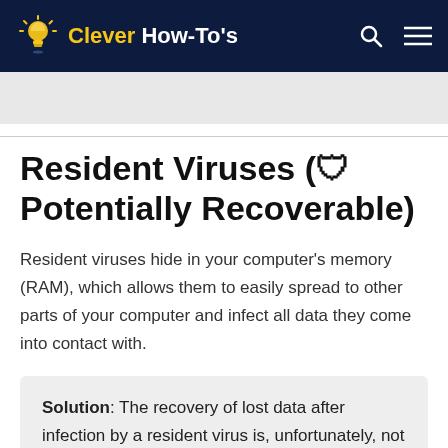Clever How-To's
Resident Viruses (🛡 Potentially Recoverable)
Resident viruses hide in your computer's memory (RAM), which allows them to easily spread to other parts of your computer and infect all data they come into contact with.
Solution: The recovery of lost data after infection by a resident virus is, unfortunately, not always possible. While some resident viruses only block logical access to files by changing